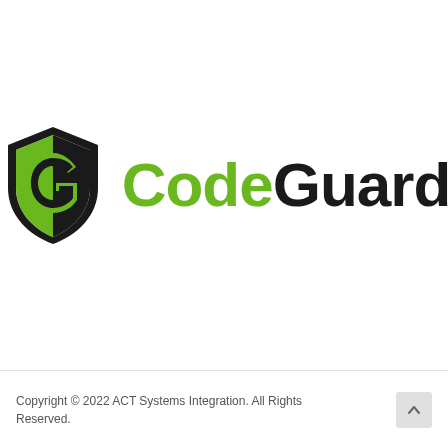[Figure (logo): CodeGuard logo: a shield icon with a stylized 'G' in black and green, followed by the text 'CodeGuard' where 'Code' is green and 'Guard' is black.]
Copyright © 2022 ACT Systems Integration. All Rights Reserved.